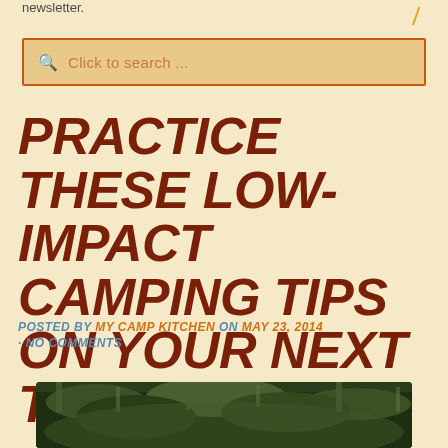newsletter.
Click to search ...
PRACTICE THESE LOW-IMPACT CAMPING TIPS ON YOUR NEXT TRIP
POSTED BY MY CAMP KITCHEN ON MAY 23, 2014 · NO COMMENTS
[Figure (photo): Forest or jungle scene with mossy rocks and dense green foliage/vegetation, viewed from below looking up a cliff face]